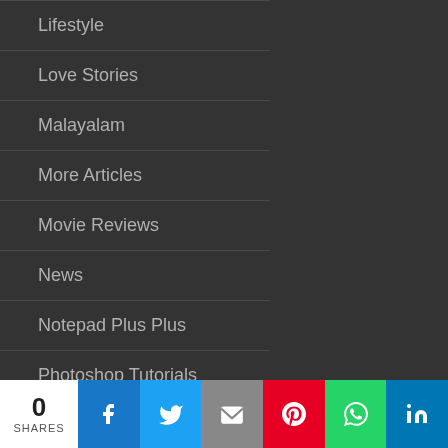Lifestyle
Love Stories
Malayalam
More Articles
Movie Reviews
News
Notepad Plus Plus
Photoshop Tutorials
Quiz
Tamil
Tech Articles
0 SHARES | Facebook | Twitter | Email | Pinterest | WhatsApp | LinkedIn